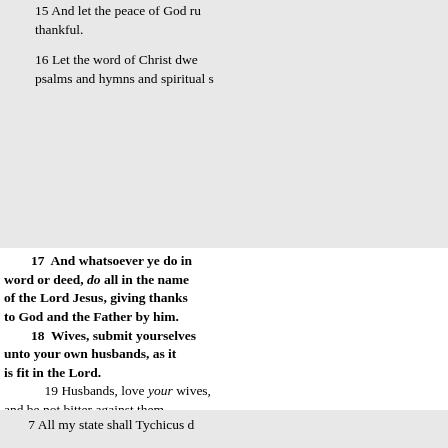15 And let the peace of God ru[le] thankful.
16 Let the word of Christ dwe[ll] psalms and hymns and spiritual s[ongs]
17 And whatsoever ye do in word or deed, do all in the name of the Lord Jesus, giving thanks to God and the Father by him. 18 Wives, submit yourselves unto your own husbands, as it is fit in the Lord. 19 Husbands, love your wives, and be not bitter against them. 20 Children, obey your parents in all things: for this is well pleasing unto the Lord. 21 Fathers, provoke not your children to anger, lest they be discouraged. 22 Servants, obey in all things your masters according to the flesh; not with eye-service, as men-pleasers; but in singleness of heart, fearing God: 23 And whatsoever ye do, do it heartily, as to the Lord, and not unto men;
7 All my state shall Tychicus d[eclare]